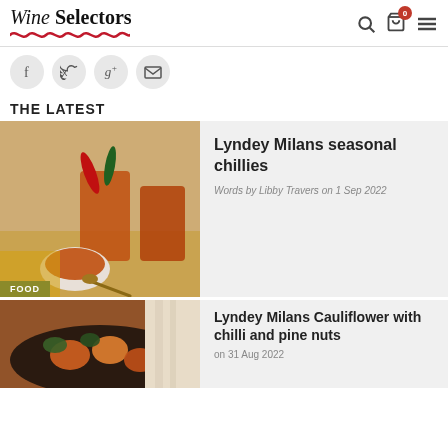Wine Selectors
[Figure (other): Social media icons row: Facebook (f), Twitter (bird), Google+ (g+), Email (envelope)]
THE LATEST
[Figure (photo): Food photo showing chilli peppers, amber-colored drinks in glasses, and a small bowl of sauce with a spoon]
Lyndey Milans seasonal chillies
Words by Libby Travers on 1 Sep 2022
[Figure (photo): Food photo showing cauliflower dish with chilli and pine nuts in a dark pan]
Lyndey Milans Cauliflower with chilli and pine nuts
on 31 Aug 2022